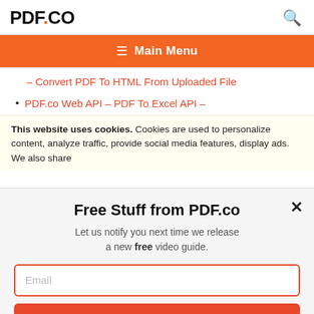PDF.CO
☰  Main Menu
– Convert PDF To HTML From Uploaded File
• PDF.co Web API – PDF To Excel API –
This website uses cookies. Cookies are used to personalize content, analyze traffic, provide social media features, display ads. We also share
Free Stuff from PDF.co
Let us notify you next time we release a new free video guide.
Email
SUBSCRIBE